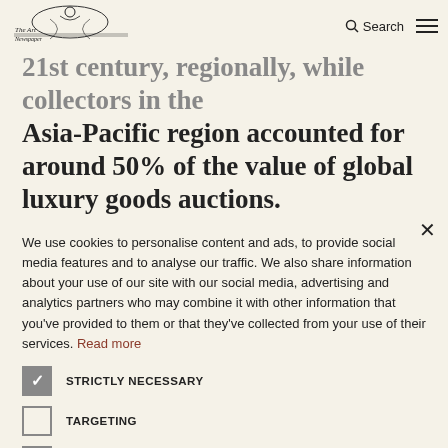Search
accounted for 34% of sales and 21st century, regionally, while collectors in the Asia-Pacific region accounted for around 50% of the value of global luxury goods auctions.
We use cookies to personalise content and ads, to provide social media features and to analyse our traffic. We also share information about your use of our site with our social media, advertising and analytics partners who may combine it with other information that you've provided to them or that they've collected from your use of their services. Read more
STRICTLY NECESSARY
TARGETING
UNCLASSIFIED
ACCEPT ALL
DECLINE ALL
SHOW DETAILS